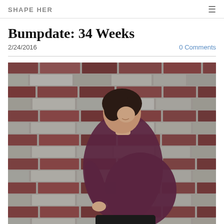SHAPE HER
Bumpdate: 34 Weeks
2/24/2016
0 Comments
[Figure (photo): Pregnant woman in a dark maroon/purple short-sleeve shirt standing in profile in front of a brick wall, showing her baby bump at 34 weeks. She has short dark hair and is smiling, with one hand on her hip.]